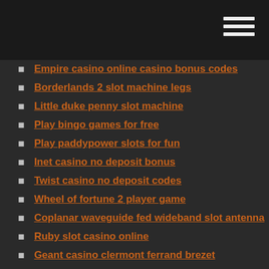Empire casino online casino bonus codes
Borderlands 2 slot machine legs
Little duke penny slot machine
Play bingo games for free
Play paddypower slots for fun
Inet casino no deposit bonus
Twist casino no deposit codes
Wheel of fortune 2 player game
Coplanar waveguide fed wideband slot antenna
Ruby slot casino online
Geant casino clermont ferrand brezet
Bingo casino no deposit bonus
Biggest pot online poker history
Casino rental equipment los angeles